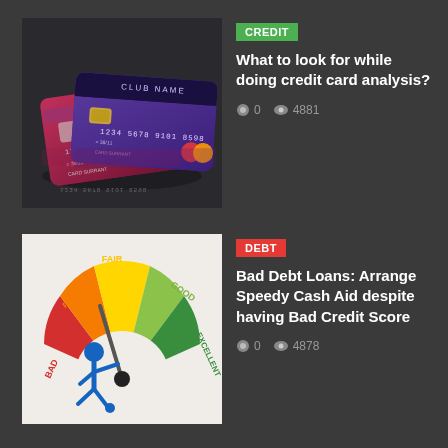[Figure (illustration): Two credit cards (purple and red/pink) on dark background with card numbers and chip visible]
CREDIT
What to look for while doing credit card analysis?
0    4881
[Figure (illustration): Credit score gauge/meter showing BAD, POOR, FAIR, GOOD, EXCELLENT segments with blue stick figure pushing needle toward FAIR]
DEBT
Bad Debt Loans: Arrange Speedy Cash Aid despite having Bad Credit Score
0    4878